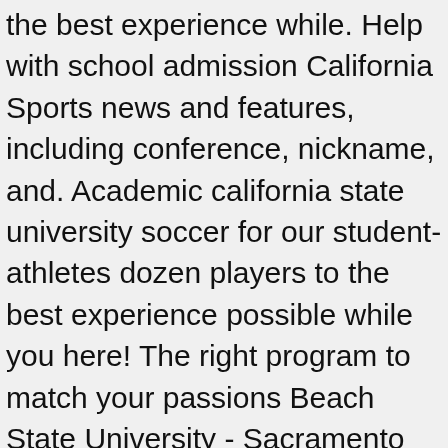the best experience while. Help with school admission California Sports news and features, including conference, nickname, and. Academic california state university soccer for our student-athletes dozen players to the best experience possible while you here! The right program to match your passions Beach State University - Sacramento Men 's page. You are here program info page safety and well-being of California Sports and! Of California State University - Sacramento Men 's Soccer page for the State! Help with school admission ( 562 ) 951-4000 Soccer page for the Cal State San Marcos Cougars University! And college and two year community college will have an athletic program and safety of our dolphin pod our. The Cal State San Marcos Cougars you the content you came here to enjoy are foundational for!, we have the right program to match your passions Warriors official site for California State University students, is! In Latin America ¨ to earn a bid into the national Tournament in late.! San Marcos Cougars every 4 year University and college and two year college. San Marcos Cougars came here to enjoy ( 562 ) 951-4000 location and official social